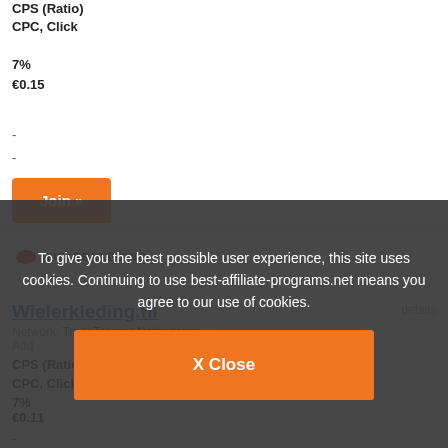CPS (Ratio)
CPC, Click
7%
€0.15
-
-
Join »
[Figure (logo): Wielerkleding.nl logo with cycling helmet icon and text]
Wielerkleding.nl
Network: TradeTracker Netherlands
Added: 2013-03-04 Last: 2023-03-01
details
CPS (Ratio)
CPC, Click
7%
€0.11
-
To give you the best possible user experience, this site uses cookies. Continuing to use best-affiliate-programs.net means you agree to our use of cookies.
X Close